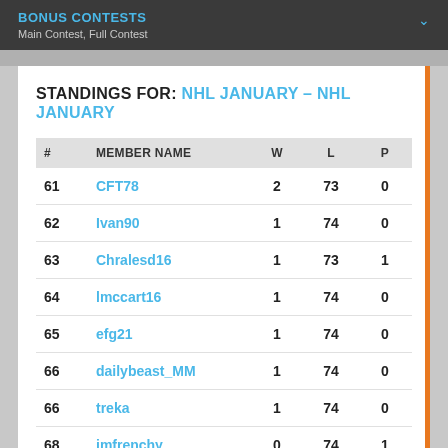BONUS CONTESTS
Main Contest, Full Contest
STANDINGS FOR: NHL JANUARY – NHL JANUARY
| # | MEMBER NAME | W | L | P |
| --- | --- | --- | --- | --- |
| 61 | CFT78 | 2 | 73 | 0 |
| 62 | Ivan90 | 1 | 74 | 0 |
| 63 | Chralesd16 | 1 | 73 | 1 |
| 64 | lmccart16 | 1 | 74 | 0 |
| 65 | efg21 | 1 | 74 | 0 |
| 66 | dailybeast_MM | 1 | 74 | 0 |
| 66 | treka | 1 | 74 | 0 |
| 68 | imfrenchy | 0 | 74 | 1 |